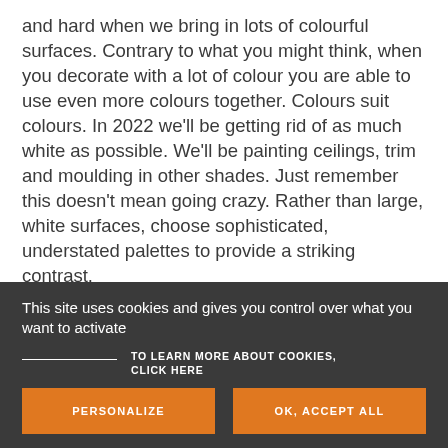and hard when we bring in lots of colourful surfaces. Contrary to what you might think, when you decorate with a lot of colour you are able to use even more colours together. Colours suit colours. In 2022 we'll be getting rid of as much white as possible. We'll be painting ceilings, trim and moulding in other shades. Just remember this doesn't mean going crazy. Rather than large, white surfaces, choose sophisticated, understated palettes to provide a striking contrast.
[Figure (photo): A horizontal strip showing a partial view of interior design images with colourful surfaces.]
This site uses cookies and gives you control over what you want to activate
TO LEARN MORE ABOUT COOKIES, CLICK HERE
PERSONALIZE
OK, ACCEPT ALL